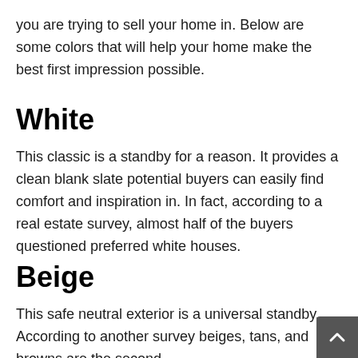you are trying to sell your home in. Below are some colors that will help your home make the best first impression possible.
White
This classic is a standby for a reason. It provides a clean blank slate potential buyers can easily find comfort and inspiration in. In fact, according to a real estate survey, almost half of the buyers questioned preferred white houses.
Beige
This safe neutral exterior is a universal standby. According to another survey beiges, tans, and browns are the second